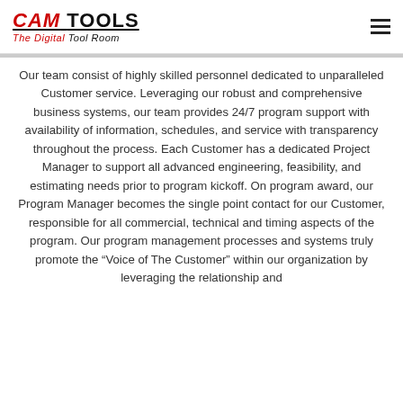CAM TOOLS The Digital Tool Room
Our team consist of highly skilled personnel dedicated to unparalleled Customer service. Leveraging our robust and comprehensive business systems, our team provides 24/7 program support with availability of information, schedules, and service with transparency throughout the process. Each Customer has a dedicated Project Manager to support all advanced engineering, feasibility, and estimating needs prior to program kickoff. On program award, our Program Manager becomes the single point contact for our Customer, responsible for all commercial, technical and timing aspects of the program. Our program management processes and systems truly promote the “Voice of The Customer” within our organization by leveraging the relationship and